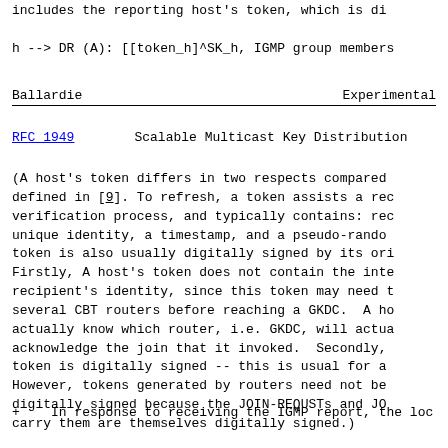includes the reporting host's token, which is di...
h --> DR (A): [[token_h]^SK_h, IGMP group members...
Ballardie                        Experimental
RFC 1949        Scalable Multicast Key Distribution
(A host's token differs in two respects compared... defined in [9]. To refresh, a token assists a rec... verification process, and typically contains: rec... unique identity, a timestamp, and a pseudo-random... token is also usually digitally signed by its ori... Firstly, A host's token does not contain the inte... recipient's identity, since this token may need t... several CBT routers before reaching a GKDC.  A ho... actually know which router, i.e. GKDC, will actua... acknowledge the join that it invoked.  Secondly,... token is digitally signed -- this is usual for a... However, tokens generated by routers need not be... digitally signed because the JOIN-REQUESTs and JO... carry them are themselves digitally signed.)
+   In response to receiving the IGMP report, the loc...